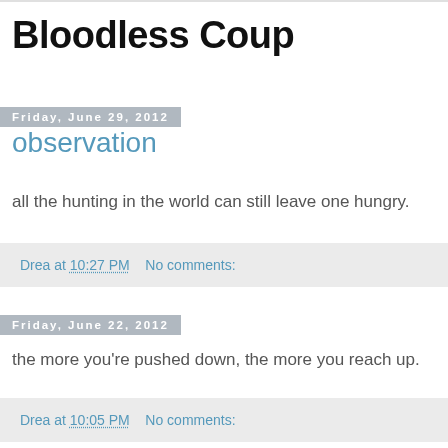Bloodless Coup
Friday, June 29, 2012
observation
all the hunting in the world can still leave one hungry.
Drea at 10:27 PM    No comments:
Friday, June 22, 2012
the more you're pushed down, the more you reach up.
Drea at 10:05 PM    No comments: